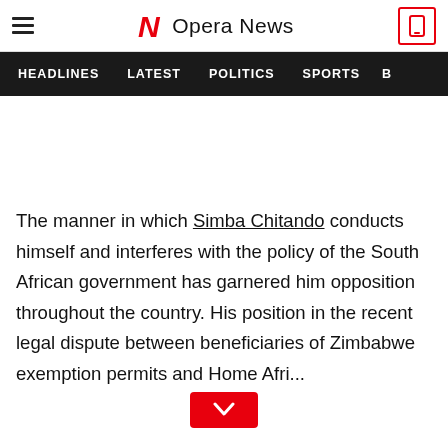Opera News
HEADLINES   LATEST   POLITICS   SPORTS   B
The manner in which Simba Chitando conducts himself and interferes with the policy of the South African government has garnered him opposition throughout the country. His position in the recent legal dispute between beneficiaries of Zimbabwe exemption permits and Home Afri...